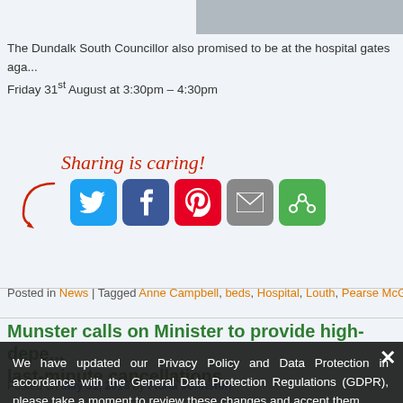[Figure (photo): Partial photo of a person at the top right of the page]
The Dundalk South Councillor also promised to be at the hospital gates again Friday 31st August at 3:30pm – 4:30pm
[Figure (infographic): Sharing is caring! social sharing buttons: Twitter, Facebook, Pinterest, Email, and a share icon button, with a red arrow and cursive text label]
Posted in News | Tagged Anne Campbell, beds, Hospital, Louth, Pearse McGe...
Munster calls on Minister to provide high-depe... last-minute cancellations
Posted on May 31, 2018 by Fiona Johnston
We have updated our Privacy Policy and Data Protection in accordance with the General Data Protection Regulations (GDPR), please take a moment to review these changes and accept them